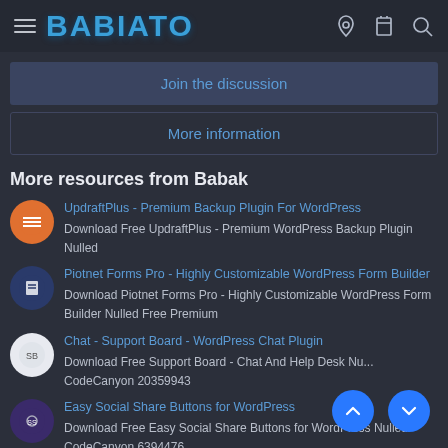BABIATO
Join the discussion
More information
More resources from Babak
UpdraftPlus - Premium Backup Plugin For WordPress
Download Free UpdraftPlus - Premium WordPress Backup Plugin Nulled
Piotnet Forms Pro - Highly Customizable WordPress Form Builder
Download Piotnet Forms Pro - Highly Customizable WordPress Form Builder Nulled Free Premium
Chat - Support Board - WordPress Chat Plugin
Download Free Support Board - Chat And Help Desk Nu... CodeCanyon 20359943
Easy Social Share Buttons for WordPress
Download Free Easy Social Share Buttons for WordPress Nulled CodeCanyon 6394476
WooCommerce Orders Tracking – SMS – PayPal Tracking Autopilot
Download WooCommerce Orders Tracking – SMS – PayPal Tracking